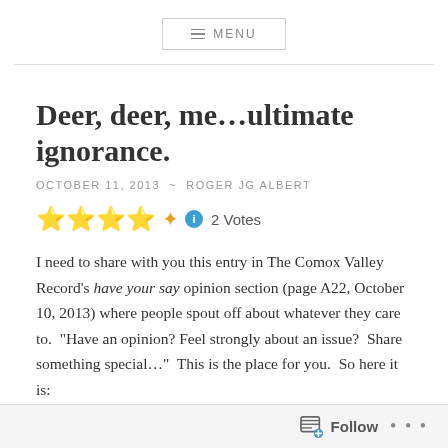MENU
Deer, deer, me...ultimate ignorance.
OCTOBER 11, 2013 ~ ROGER JG ALBERT
2 Votes
I need to share with you this entry in The Comox Valley Record's have your say opinion section (page A22, October 10, 2013) where people spout off about whatever they care to. "Have an opinion? Feel strongly about an issue? Share something special..." This is the place for you. So here it is:
Follow